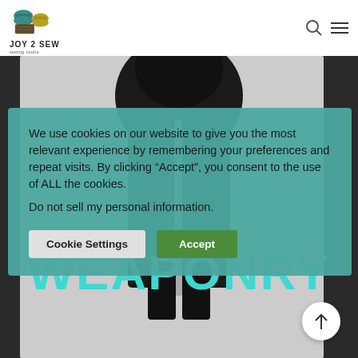JOY 2 SEW — logo and navigation header
[Figure (photo): Background photo of a person in black tactical/cosplay gear holding a metallic staff or weapon, partially obscured by cookie consent banner and WEAPONRY text overlay]
We use cookies on our website to give you the most relevant experience by remembering your preferences and repeat visits. By clicking “Accept”, you consent to the use of ALL the cookies.
Do not sell my personal information.
WEAPONRY